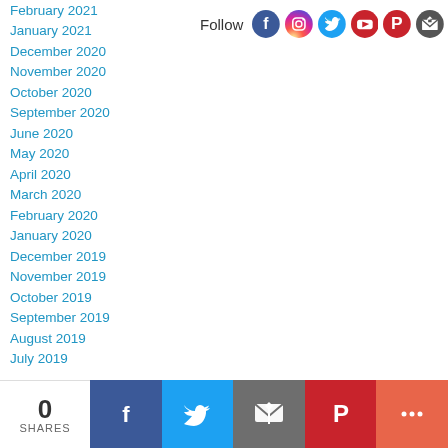February 2021
January 2021
December 2020
November 2020
October 2020
September 2020
June 2020
May 2020
April 2020
March 2020
February 2020
January 2020
December 2019
November 2019
October 2019
September 2019
August 2019
July 2019
[Figure (infographic): Follow social media icons: Facebook, Instagram, Twitter, YouTube, Pinterest, Email/Newsletter]
[Figure (infographic): Share bar at bottom: 0 SHARES, Facebook, Twitter, Email, Pinterest, More buttons]